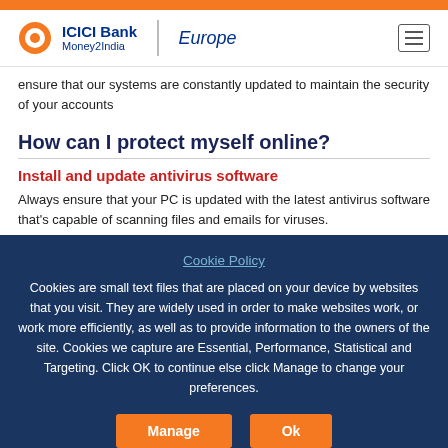ICICI Bank Money2India | Europe
ensure that our systems are constantly updated to maintain the security of your accounts
How can I protect myself online?
Install and update antivirus software
Always ensure that your PC is updated with the latest antivirus software that's capable of scanning files and emails for viruses.
Cookie Policy
Cookies are small text files that are placed on your device by websites that you visit. They are widely used in order to make websites work, or work more efficiently, as well as to provide information to the owners of the site. Cookies we capture are Essential, Performance, Statistical and Targeting. Click OK to continue else click Manage to change your preferences.